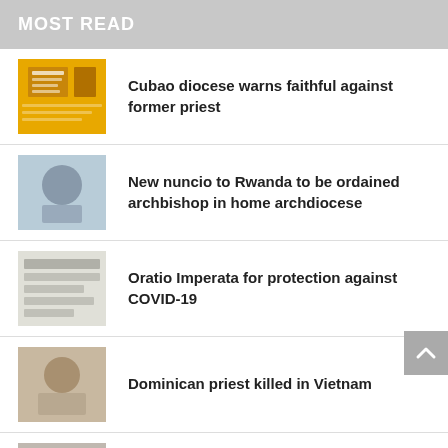MOST READ
Cubao diocese warns faithful against former priest
New nuncio to Rwanda to be ordained archbishop in home archdiocese
Oratio Imperata for protection against COVID-19
Dominican priest killed in Vietnam
Vatican opens its first embassy in Abu Dhabi